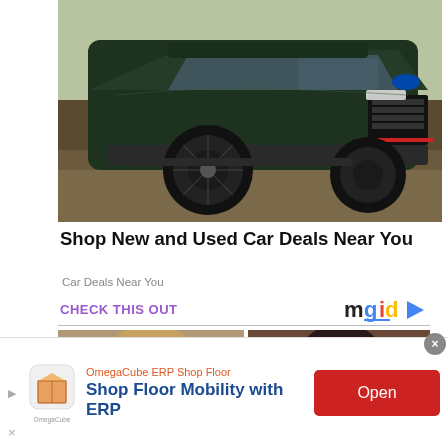[Figure (photo): Dark green Ford Explorer SUV parked on a dirt/rocky outdoor setting, front three-quarter view]
Shop New and Used Car Deals Near You
Car Deals Near You
CHECK THIS OUT
[Figure (logo): mgid logo with play button triangle]
[Figure (photo): Two celebrity portrait photos side by side, women with hair accessories]
[Figure (infographic): OmegaCube ERP Shop Floor advertisement banner with Shop Floor Mobility with ERP text and Open button]